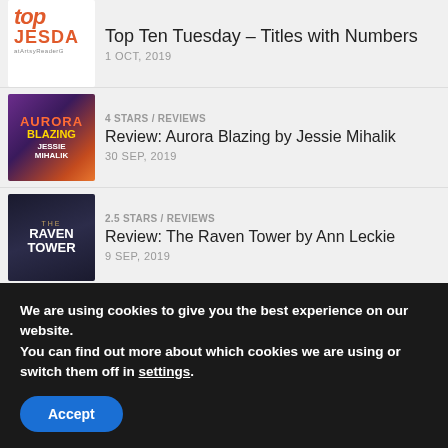Top Ten Tuesday – Titles with Numbers
1 OCT, 2019
4 STARS / REVIEWS
Review: Aurora Blazing by Jessie Mihalik
30 SEP, 2019
2.5 STARS / REVIEWS
Review: The Raven Tower by Ann Leckie
9 SEP, 2019
TOP 5 TUESDAY
We are using cookies to give you the best experience on our website.
You can find out more about which cookies we are using or switch them off in settings.
Accept